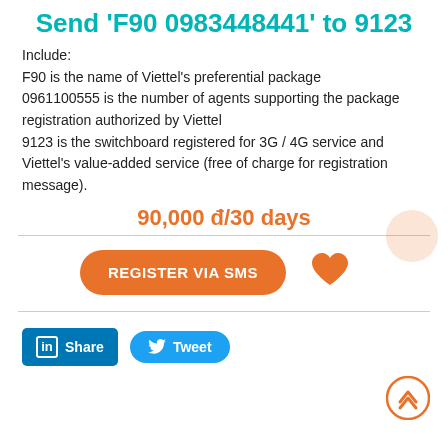Send 'F90 0983448441' to 9123
Include:
F90 is the name of Viettel's preferential package
0961100555 is the number of agents supporting the package registration authorized by Viettel
9123 is the switchboard registered for 3G / 4G service and Viettel's value-added service (free of charge for registration message).
90,000 đ/30 days
[Figure (other): Orange rounded rectangle button labeled REGISTER VIA SMS, with an orange heart icon to the right]
[Figure (other): LinkedIn Share button (blue rounded rectangle with 'in' logo and 'Share' text) and Twitter Tweet button (blue pill with bird logo and 'Tweet' text), and an orange circle scroll-to-top button at bottom right]